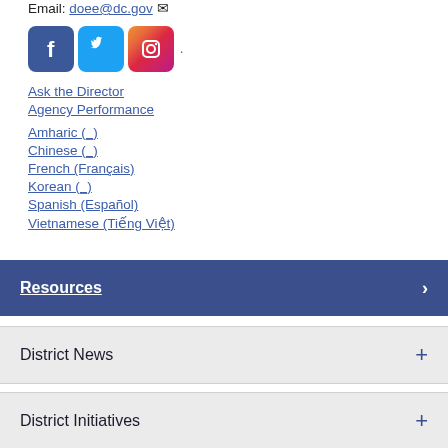Email: doee@dc.gov
[Figure (illustration): Social media icons: Facebook (blue square with F), Twitter (light blue square with bird), Instagram (gradient square with camera)]
Ask the Director
Agency Performance
Amharic (_)
Chinese (_)
French (Français)
Korean (_)
Spanish (Español)
Vietnamese (Tiếng Việt)
Resources
District News
District Initiatives